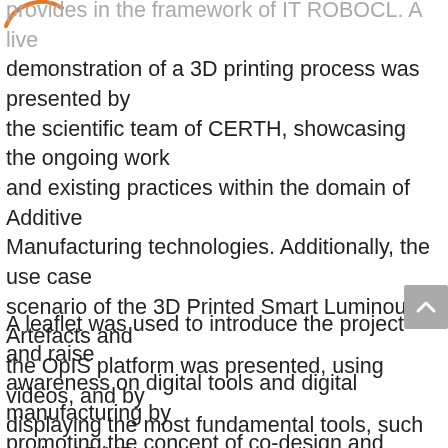provides in the framework of ITROBOCL. A live demonstration of a 3D printing process was presented by the scientific team of CERTH, showcasing the ongoing work and existing practices within the domain of Additive Manufacturing technologies. Additionally, the use case scenario of the 3D Printed Smart Luminous Artefacts and the OpIS platform was presented, using videos, and by displaying the most fundamental tools, such as the AR/VR toolkit and Ricardian toolkit.
A leaflet was used to introduce the project and raise awareness on digital tools and digital manufacturing by promoting the concept of co-design and initiating co-creation activities, and enhance educational and cultural heritage fields by incorporating 3D printing and AR/VR